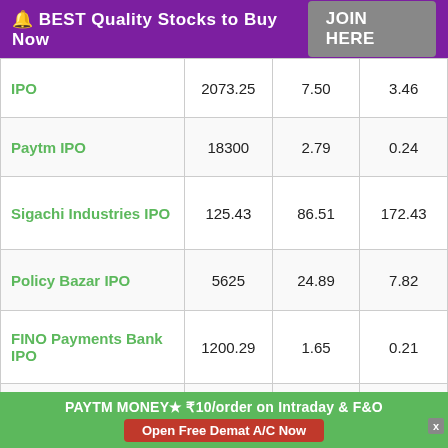🔔 BEST Quality Stocks to Buy Now  JOIN HERE
|  |  |  |  |
| --- | --- | --- | --- |
| IPO | 2073.25 | 7.50 | 3.46 |
| Paytm IPO | 18300 | 2.79 | 0.24 |
| Sigachi Industries IPO | 125.43 | 86.51 | 172.43 |
| Policy Bazar IPO | 5625 | 24.89 | 7.82 |
| FINO Payments Bank IPO | 1200.29 | 1.65 | 0.21 |
| Nykaa IPO | 5351.92 | 91.18 | 112.02 |
| Aditya Birla IPO | 2768.26 | 10.36 | 4.39 |
|  |  |  |  |
PAYTM MONEY★ ₹10/order on Intraday & F&O  Open Free Demat A/C Now